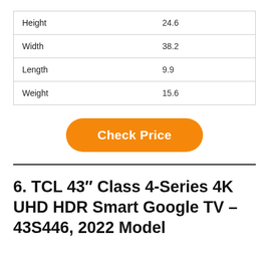| Height | 24.6 |
| Width | 38.2 |
| Length | 9.9 |
| Weight | 15.6 |
Check Price
6. TCL 43″ Class 4-Series 4K UHD HDR Smart Google TV – 43S446, 2022 Model